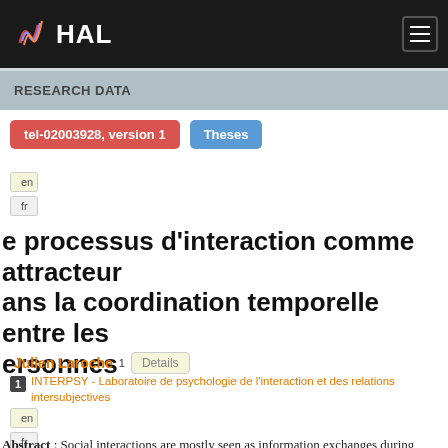HAL
RESEARCH DATA
tel-02003928, version 1
Theses
en
fr
e processus d'interaction comme attracteur dans la coordination temporelle entre les personnes
Julien Laroche 1  Details
1  INTERPSY - Laboratoire de psychologie de l'interaction et des relations intersubjectives
en
fr
Abstract : Social interactions are mostly seen as information exchanges during